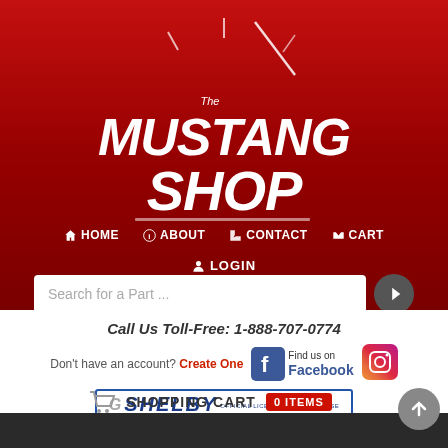[Figure (logo): The Mustang Shop logo with speedometer graphic on red background]
HOME  ABOUT  CONTACT  CART  LOGIN
Search for a Part ...
Call Us Toll-Free: 1-888-707-0774
Don't have an account? Create One
[Figure (logo): Find us on Facebook logo]
[Figure (logo): Instagram logo]
[Figure (logo): Shelby Official Licensed Merchandise badge]
SHOPPING CART  0 ITEMS